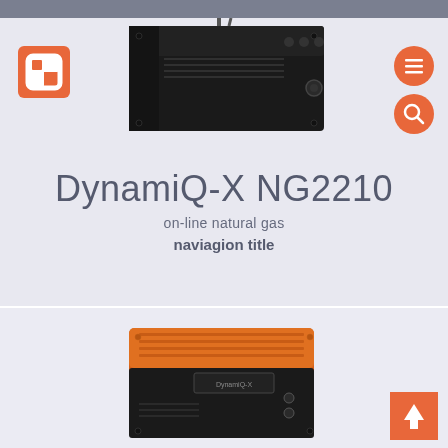[Figure (photo): Top portion of a dark-colored industrial gas analyzer unit (DynamiQ-X NG2210), black metal chassis with connectors and knobs, cropped view]
[Figure (logo): Orange square logo with white Q-like symbol, brand logo for the manufacturer]
[Figure (infographic): Orange circle with white hamburger menu icon (three horizontal lines)]
[Figure (infographic): Orange circle with white magnifying glass search icon]
DynamiQ-X NG2210
on-line natural gas
naviagion title
[Figure (photo): Orange and black industrial natural gas analyzer unit (DynamiQ-X NG2210) shown from a slightly elevated angle, ruggedized enclosure with ribbed top panel]
[Figure (infographic): Orange square button with white upward arrow (scroll to top)]